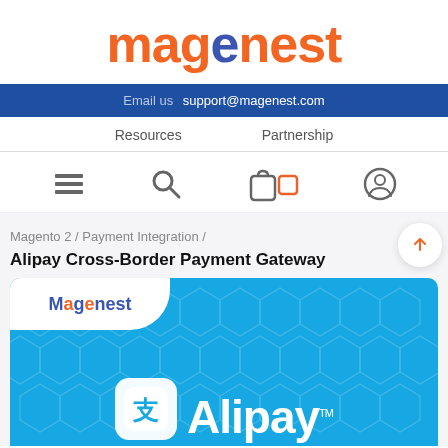[Figure (logo): Magenest logo in orange and blue text]
Email us  support@magenest.com
Resources    Partnership
[Figure (infographic): Icon row: hamburger menu, search magnifier, shopping bag with orange square, user/account circle]
Magento 2 / Payment Integration /
Alipay Cross-Border Payment Gateway
[Figure (screenshot): Product banner image: blue background with Magenest logo in top-left white corner cutout, and Alipay logo with icon in white on blue background]